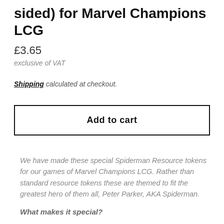sided) for Marvel Champions LCG
£3.65
exclusive of VAT
Shipping calculated at checkout.
Add to cart
We have made these special Spiderman Resource tokens for our games of Marvel Champions LCG. Rather than standard resource tokens these are themed to fit the greatest hero of them all, Peter Parker, AKA Spiderman.
What makes it special?